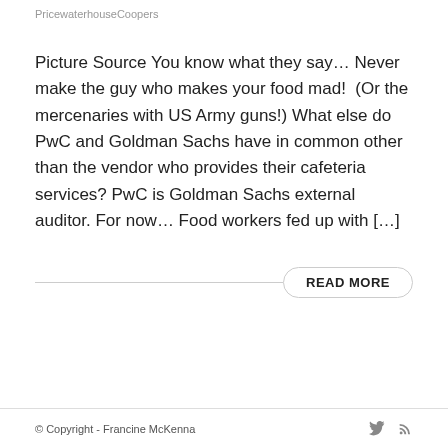PricewaterhouseCoopers
Picture Source You know what they say… Never make the guy who makes your food mad!  (Or the mercenaries with US Army guns!) What else do PwC and Goldman Sachs have in common other than the vendor who provides their cafeteria services? PwC is Goldman Sachs external auditor. For now… Food workers fed up with […]
READ MORE
© Copyright - Francine McKenna